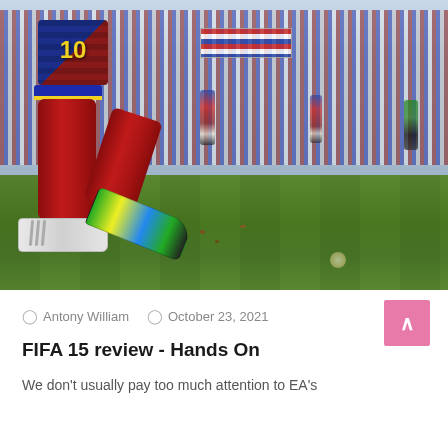[Figure (photo): FIFA 15 video game screenshot showing a soccer player (wearing number 10 jersey in FC Barcelona colors, red socks, and colorful cleats) mid-kick on a grass pitch with a crowd in the background]
Antony William   October 23, 2021
FIFA 15 review - Hands On
We don't usually pay too much attention to EA's